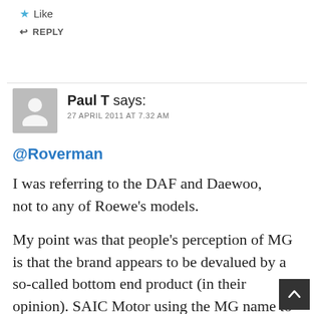★ Like
↩ REPLY
Paul T says:
27 APRIL 2011 AT 7.32 AM
@Roverman
I was referring to the DAF and Daewoo, not to any of Roewe's models.

My point was that people's perception of MG is that the brand appears to be devalued by a so-called bottom end product (in their opinion). SAIC Motor using the MG name to attract customers in